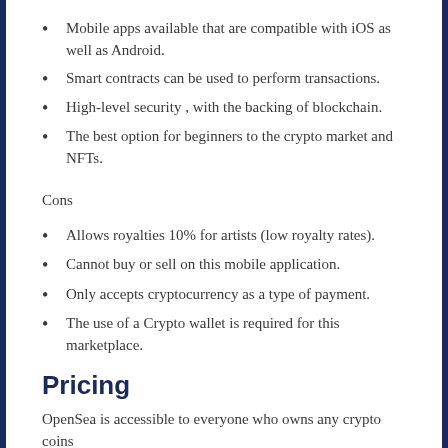Mobile apps available that are compatible with iOS as well as Android.
Smart contracts can be used to perform transactions.
High-level security , with the backing of blockchain.
The best option for beginners to the crypto market and NFTs.
Cons
Allows royalties 10% for artists (low royalty rates).
Cannot buy or sell on this mobile application.
Only accepts cryptocurrency as a type of payment.
The use of a Crypto wallet is required for this marketplace.
Pricing
OpenSea is accessible to everyone who owns any crypto coins